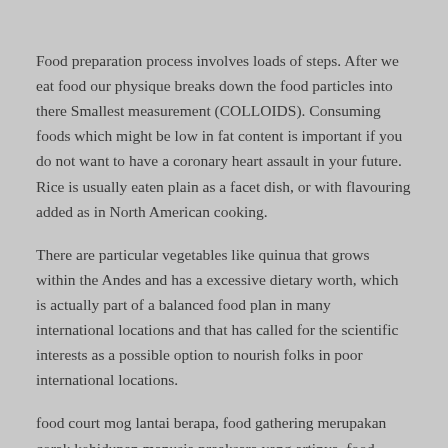Food preparation process involves loads of steps. After we eat food our physique breaks down the food particles into there Smallest measurement (COLLOIDS). Consuming foods which might be low in fat content is important if you do not want to have a coronary heart assault in your future. Rice is usually eaten plain as a facet dish, or with flavouring added as in North American cooking.
There are particular vegetables like quinua that grows within the Andes and has a excessive dietary worth, which is actually part of a balanced food plan in many international locations and that has called for the scientific interests as a possible option to nourish folks in poor international locations.
food court mog lantai berapa, food gathering merupakan corak kehidupan manusia praaksara yang artinya, food processor vienta, food junction surabaya, ...    Read More...